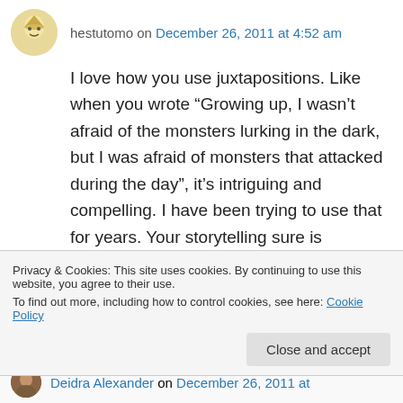hestutomo on December 26, 2011 at 4:52 am
I love how you use juxtapositions. Like when you wrote “Growing up, I wasn’t afraid of the monsters lurking in the dark, but I was afraid of monsters that attacked during the day”, it’s intriguing and compelling. I have been trying to use that for years. Your storytelling sure is compelling.

And thank you for liking my post 🙂
Privacy & Cookies: This site uses cookies. By continuing to use this website, you agree to their use.
To find out more, including how to control cookies, see here: Cookie Policy
Close and accept
Deidra Alexander on December 26, 2011 at